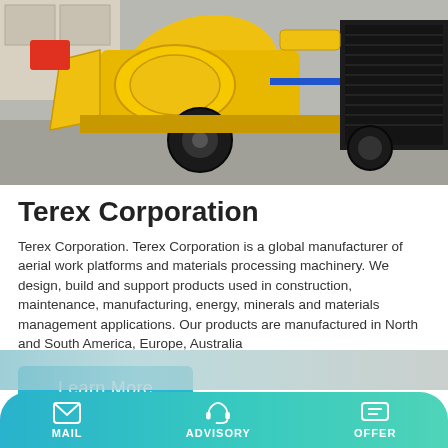[Figure (photo): Yellow concrete pump truck/machinery photographed outdoors on a concrete surface. The machine is large, yellow in color with black tires, set against a grey outdoor background.]
Terex Corporation
Terex Corporation. Terex Corporation is a global manufacturer of aerial work platforms and materials processing machinery. We design, build and support products used in construction, maintenance, manufacturing, energy, minerals and materials management applications. Our products are manufactured in North and South America, Europe, Australia
[Figure (other): Learn More button — cyan/teal colored rectangle button with white text]
[Figure (other): Partially visible next content image strip at bottom]
MAIL   ADVISORY   OFFER